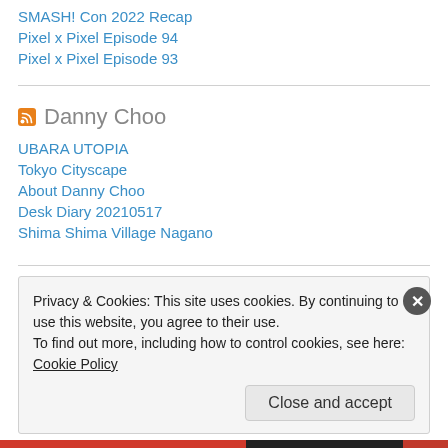SMASH! Con 2022 Recap
Pixel x Pixel Episode 94
Pixel x Pixel Episode 93
Danny Choo
UBARA UTOPIA
Tokyo Cityscape
About Danny Choo
Desk Diary 20210517
Shima Shima Village Nagano
Privacy & Cookies: This site uses cookies. By continuing to use this website, you agree to their use. To find out more, including how to control cookies, see here: Cookie Policy
Close and accept